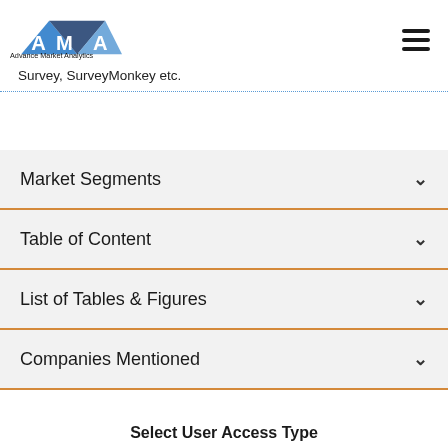Advance Market Analytics
Survey, SurveyMonkey etc.
Market Segments
Table of Content
List of Tables & Figures
Companies Mentioned
Select User Access Type